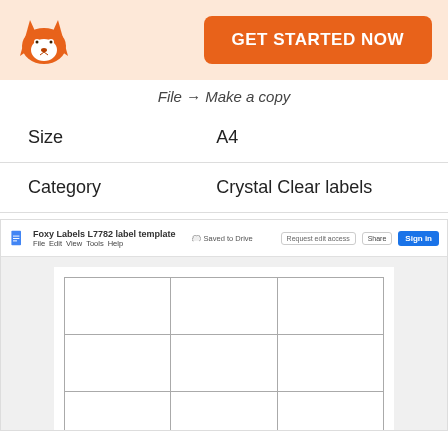[Figure (logo): Foxy Labels fox logo — orange fox with white and brown face details]
GET STARTED NOW
File → Make a copy
| Size | A4 |
| Category | Crystal Clear labels |
[Figure (screenshot): Screenshot of Google Docs showing Foxy Labels L7782 label template with a 3-column label grid on white paper]